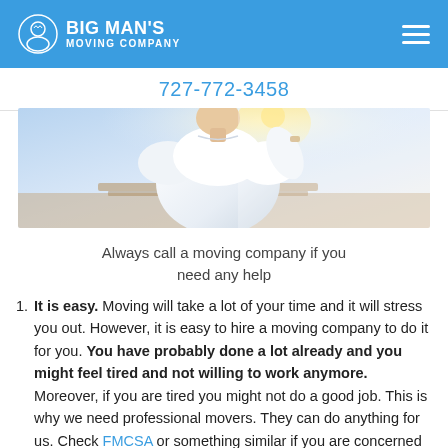BIG MAN'S MOVING COMPANY
727-772-3458
[Figure (photo): A person in a white shirt viewed from behind, appearing to be working or moving items, with a bright sunlit background.]
Always call a moving company if you need any help
It is easy. Moving will take a lot of your time and it will stress you out. However, it is easy to hire a moving company to do it for you. You have probably done a lot already and you might feel tired and not willing to work anymore. Moreover, if you are tired you might not do a good job. This is why we need professional movers. They can do anything for us. Check FMCSA or something similar if you are concerned with the safety